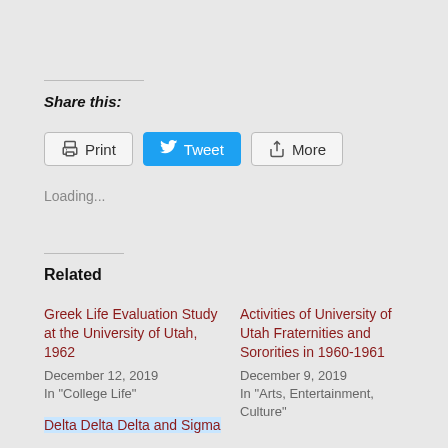Share this:
Print  Tweet  More
Loading...
Related
Greek Life Evaluation Study at the University of Utah, 1962
December 12, 2019
In "College Life"
Activities of University of Utah Fraternities and Sororities in 1960-1961
December 9, 2019
In "Arts, Entertainment, Culture"
Delta Delta Delta and Sigma